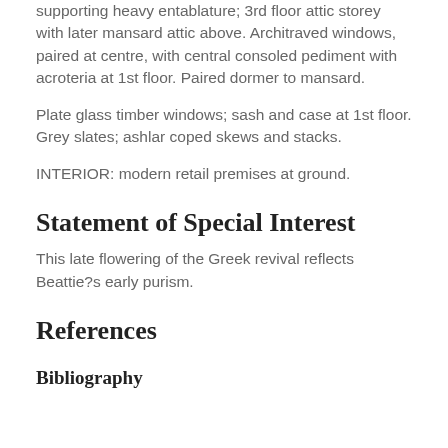supporting heavy entablature; 3rd floor attic storey with later mansard attic above. Architraved windows, paired at centre, with central consoled pediment with acroteria at 1st floor. Paired dormer to mansard.
Plate glass timber windows; sash and case at 1st floor. Grey slates; ashlar coped skews and stacks.
INTERIOR: modern retail premises at ground.
Statement of Special Interest
This late flowering of the Greek revival reflects Beattie?s early purism.
References
Bibliography